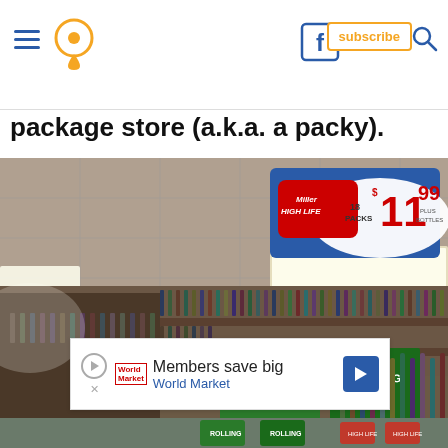Navigation header with hamburger menu, location pin, Facebook icon, subscribe button, and search icon
package store (a.k.a. a packy).
[Figure (photo): Interior of a package store (liquor store) with shelves of bottles and a Miller High Life sign advertising 18 packs for $11.99 plus bottles, with Rolling Rock cases in the foreground.]
Members save big
World Market